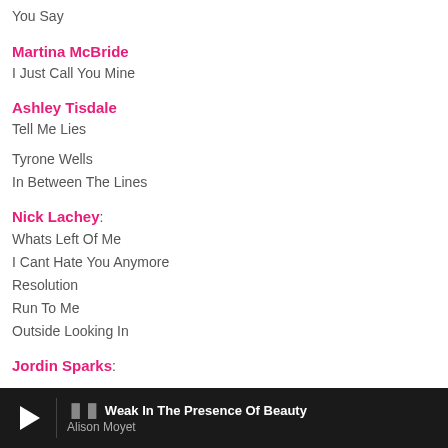You Say
Martina McBride
I Just Call You Mine
Ashley Tisdale
Tell Me Lies
Tyrone Wells
In Between The Lines
Nick Lachey:
Whats Left Of Me
I Cant Hate You Anymore
Resolution
Run To Me
Outside Looking In
Jordin Sparks:
Weak In The Presence Of Beauty — Alison Moyet